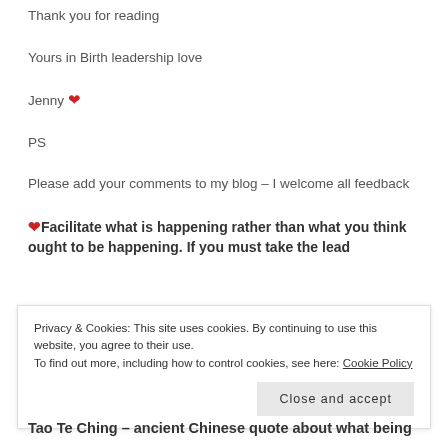Thank you for reading
Yours in Birth leadership love
Jenny ❤
PS
Please add your comments to my blog – I welcome all feedback
❤Facilitate what is happening rather than what you think ought to be happening. If you must take the lead
Privacy & Cookies: This site uses cookies. By continuing to use this website, you agree to their use. To find out more, including how to control cookies, see here: Cookie Policy
Close and accept
Tao Te Ching – ancient Chinese quote about what being